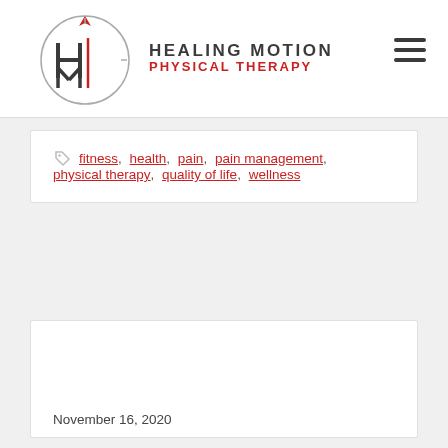Healing Motion Physical Therapy
fitness, health, pain, pain management, physical therapy, quality of life, wellness
November 16, 2020